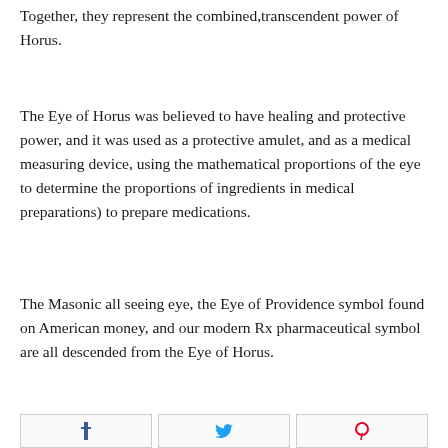Together, they represent the combined,transcendent power of Horus.
The Eye of Horus was believed to have healing and protective power, and it was used as a protective amulet, and as a medical measuring device, using the mathematical proportions of the eye to determine the proportions of ingredients in medical preparations) to prepare medications.
The Masonic all seeing eye, the Eye of Providence symbol found on American money, and our modern Rx pharmaceutical symbol are all descended from the Eye of Horus.
[Figure (other): Social media sharing buttons: Facebook, Twitter/share, Pinterest]